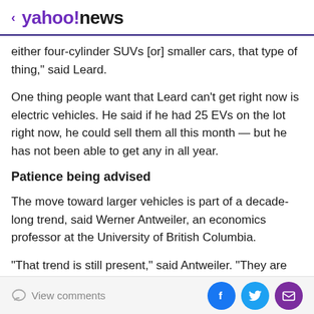< yahoo!news
either four-cylinder SUVs [or] smaller cars, that type of thing," said Leard.
One thing people want that Leard can't get right now is electric vehicles. He said if he had 25 EVs on the lot right now, he could sell them all this month — but he has not been able to get any in all year.
Patience being advised
The move toward larger vehicles is part of a decade-long trend, said Werner Antweiler, an economics professor at the University of British Columbia.
"That trend is still present," said Antweiler. "They are
View comments